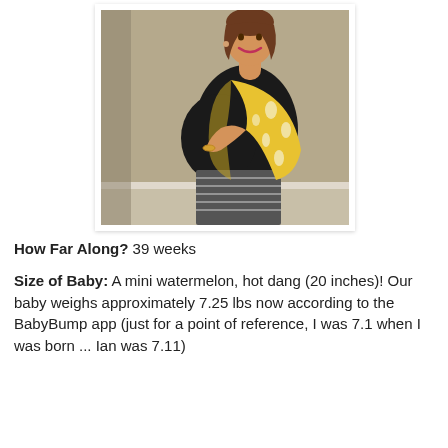[Figure (photo): A pregnant woman standing sideways, wearing a black dress and yellow floral cardigan, smiling, showing her baby bump. She has her hand on her belly.]
How Far Along? 39 weeks
Size of Baby: A mini watermelon, hot dang (20 inches)! Our baby weighs approximately 7.25 lbs now according to the BabyBump app (just for a point of reference, I was 7.1 when I was born ... Ian was 7.11)